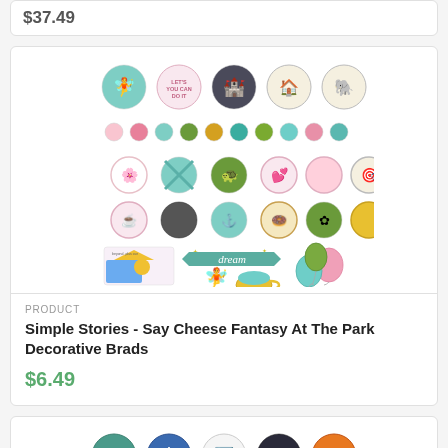$37.49
[Figure (photo): Simple Stories Say Cheese Fantasy At The Park Decorative Brads product image showing colorful circular brads in pink, teal, green, gold colors with illustrated stickers including a fairy, castle, dream banner, teacup, and balloons]
PRODUCT
Simple Stories - Say Cheese Fantasy At The Park Decorative Brads
$6.49
[Figure (photo): Bottom partial product image showing circular decorative brads in teal, blue, and orange colors]